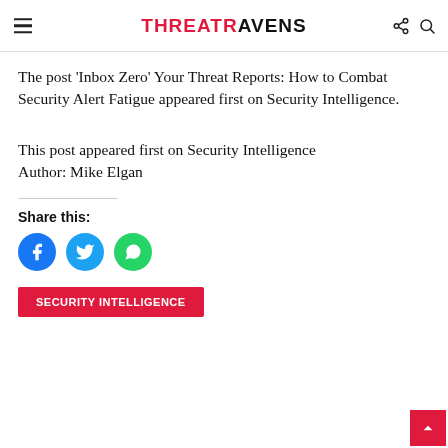THREATRAVENS
The post ‘Inbox Zero’ Your Threat Reports: How to Combat Security Alert Fatigue appeared first on Security Intelligence.
This post appeared first on Security Intelligence Author: Mike Elgan
Share this:
[Figure (infographic): Three circular social media share buttons: Facebook (blue), Twitter (light blue), WhatsApp (green)]
SECURITY INTELLIGENCE